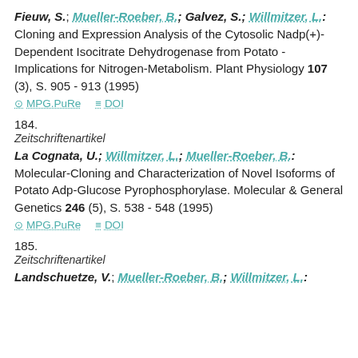Fieuw, S.; Mueller-Roeber, B.; Galvez, S.; Willmitzer, L.: Cloning and Expression Analysis of the Cytosolic Nadp(+)-Dependent Isocitrate Dehydrogenase from Potato - Implications for Nitrogen-Metabolism. Plant Physiology 107 (3), S. 905 - 913 (1995)
MPG.PuRe   DOI
184.
Zeitschriftenartikel
La Cognata, U.; Willmitzer, L.; Mueller-Roeber, B.: Molecular-Cloning and Characterization of Novel Isoforms of Potato Adp-Glucose Pyrophosphorylase. Molecular & General Genetics 246 (5), S. 538 - 548 (1995)
MPG.PuRe   DOI
185.
Zeitschriftenartikel
Landschuetze, V.; Mueller-Roeber, B.; Willmitzer, L.: